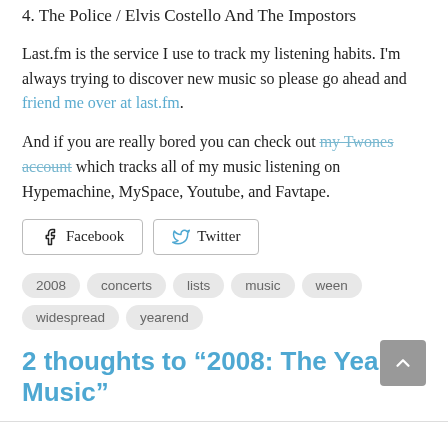4. The Police / Elvis Costello And The Impostors
Last.fm is the service I use to track my listening habits. I'm always trying to discover new music so please go ahead and friend me over at last.fm.
And if you are really bored you can check out my Twones account which tracks all of my music listening on Hypemachine, MySpace, Youtube, and Favtape.
Facebook  Twitter (social share buttons)
2008  concerts  lists  music  ween  widespread  yearend
2 thoughts to “2008: The Year In Music”